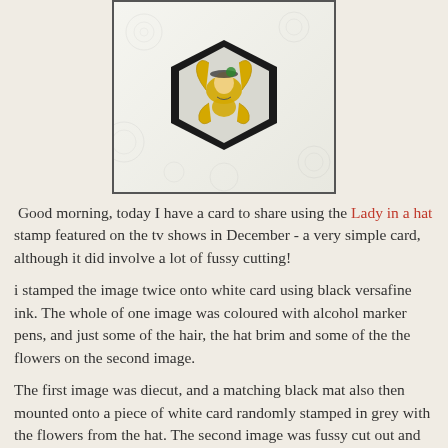[Figure (photo): A craft card showing a lady figure with golden hair inside a black hexagon die-cut shape, mounted on a white card with grey floral stamping in the background, with decorative lace-like border.]
Good morning, today I have a card to share using the Lady in a hat stamp featured on the tv shows in December - a very simple card, although it did involve a lot of fussy cutting!
i stamped the image twice onto white card using black versafine ink. The whole of one image was coloured with alcohol marker pens, and just some of the hair, the hat brim and some of the the flowers on the second image.
The first image was diecut, and a matching black mat also then mounted onto a piece of white card randomly stamped in grey with the flowers from the hat. The second image was fussy cut out and mounted with foam pads over the first image - then the whole panel was stuck onto a narrow black mat and then onto a square white card blank.